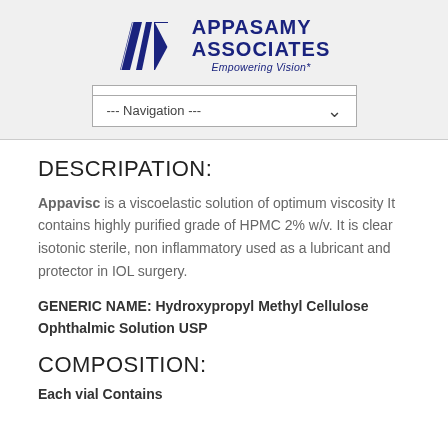[Figure (logo): Appasamy Associates logo with stylized A/M geometric mark in dark blue and the text APPASAMY ASSOCIATES Empowering Vision*]
--- Navigation ---
DESCRIPATION:
Appavisc is a viscoelastic solution of optimum viscosity It contains highly purified grade of HPMC 2% w/v. It is clear isotonic sterile, non inflammatory used as a lubricant and protector in IOL surgery.
GENERIC NAME: Hydroxypropyl Methyl Cellulose Ophthalmic Solution USP
COMPOSITION:
Each vial Contains